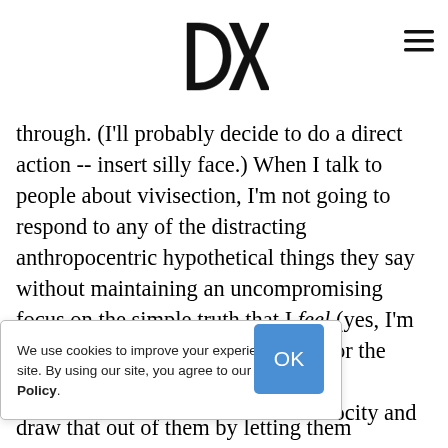DXE (logo) — navigation header
through. (I'll probably decide to do a direct action -- insert silly face.) When I talk to people about vivisection, I'm not going to respond to any of the distracting anthropocentric hypothetical things they say without maintaining an uncompromising focus on the simple truth that I feel (yes, I'm putting "feel" before "think" here, for the "reasons" stated above) that the discrimination and violence and atrocity and [USE EMOTIONALLY, BY AGREE WITH ME, H THE HEAVY THAT THEIR THEM IN. So I need to draw that out of them by letting them empathize with
We use cookies to improve your experience on our site. By using our site, you agree to our Privacy Policy.